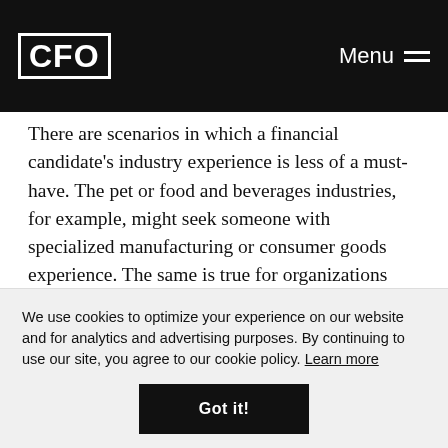CFO | Menu
There are scenarios in which a financial candidate's industry experience is less of a must-have. The pet or food and beverages industries, for example, might seek someone with specialized manufacturing or consumer goods experience. The same is true for organizations that are more mature or privately held, have less complex models and smaller teams, or are in industries less subject to heavy regulations.
We use cookies to optimize your experience on our website and for analytics and advertising purposes. By continuing to use our site, you agree to our cookie policy. Learn more
Got it!